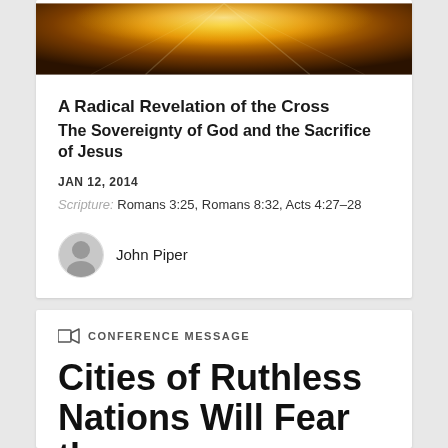[Figure (photo): Golden/amber colored hero banner image with light rays on dark background]
A Radical Revelation of the Cross
The Sovereignty of God and the Sacrifice of Jesus
JAN 12, 2014
Scripture: Romans 3:25, Romans 8:32, Acts 4:27–28
John Piper
CONFERENCE MESSAGE
Cities of Ruthless Nations Will Fear the